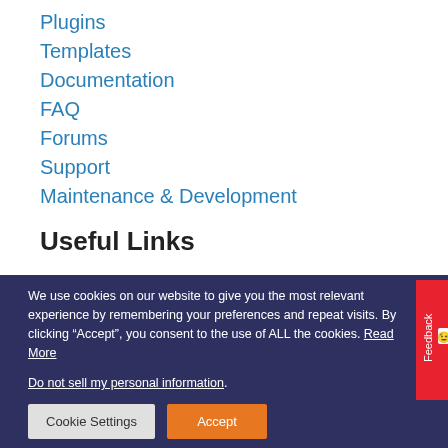Plugins
Templates
Documentation
FAQ
Forums
Support
Maintenance & Development
Useful Links
We use cookies on our website to give you the most relevant experience by remembering your preferences and repeat visits. By clicking “Accept”, you consent to the use of ALL the cookies. Read More
Do not sell my personal information.
Cookie Settings
Accept